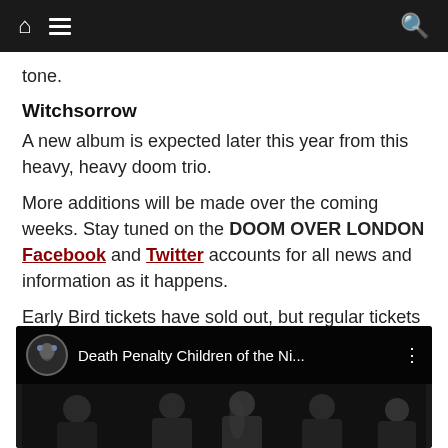Navigation bar with home, menu, and search icons
tone.
Witchsorrow
A new album is expected later this year from this heavy, heavy doom trio.
More additions will be made over the coming weeks. Stay tuned on the DOOM OVER LONDON Facebook and Twitter accounts for all news and information as it happens.
Early Bird tickets have sold out, but regular tickets are available to purchase here, priced at £29.50.
[Figure (screenshot): YouTube video thumbnail showing Death Penalty Children of the Ni... with band members in black and white photo and a circular avatar]